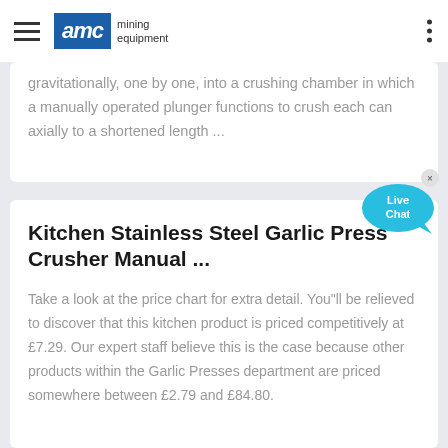AMC mining equipment
gravitationally, one by one, into a crushing chamber in which a manually operated plunger functions to crush each can axially to a shortened length ...
Kitchen Stainless Steel Garlic Press Crusher Manual ...
Take a look at the price chart for extra detail. You"ll be relieved to discover that this kitchen product is priced competitively at £7.29. Our expert staff believe this is the case because other products within the Garlic Presses department are priced somewhere between £2.79 and £84.80.